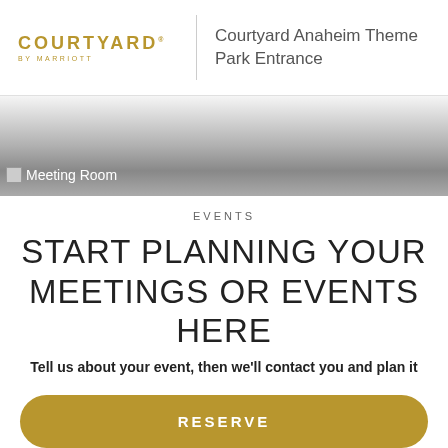[Figure (logo): Courtyard by Marriott logo in gold/amber color with 'COURTYARD' text and 'BY MARRIOTT' below]
Courtyard Anaheim Theme Park Entrance
[Figure (photo): Meeting Room photo with gradient overlay, broken image shown as placeholder]
EVENTS
START PLANNING YOUR MEETINGS OR EVENTS HERE
Tell us about your event, then we'll contact you and plan it
RESERVE